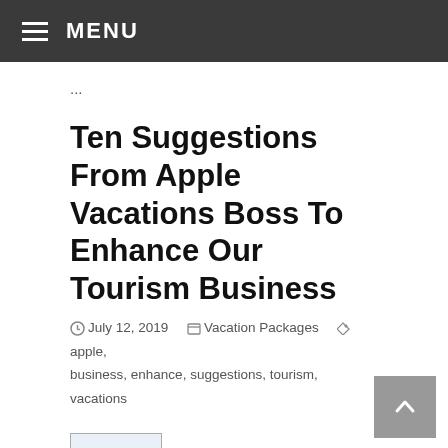≡ MENU
...
Ten Suggestions From Apple Vacations Boss To Enhance Our Tourism Business
July 12, 2019   Vacation Packages   apple, business, enhance, suggestions, tourism, vacations
Apple Holidays has once more honored New Horizons Journey as a 2017 Platinum Company. I have cease utilizing Apple Holidays years in the past, and identical goes for journey agents. Unlike different...